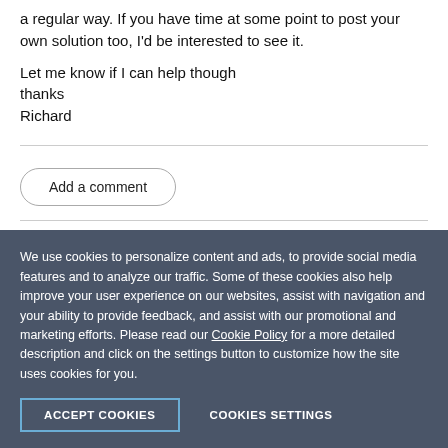a regular way. If you have time at some point to post your own solution too, I'd be interested to see it.
Let me know if I can help though
thanks
Richard
Add a comment
We use cookies to personalize content and ads, to provide social media features and to analyze our traffic. Some of these cookies also help improve your user experience on our websites, assist with navigation and your ability to provide feedback, and assist with our promotional and marketing efforts. Please read our Cookie Policy for a more detailed description and click on the settings button to customize how the site uses cookies for you.
ACCEPT COOKIES
COOKIES SETTINGS